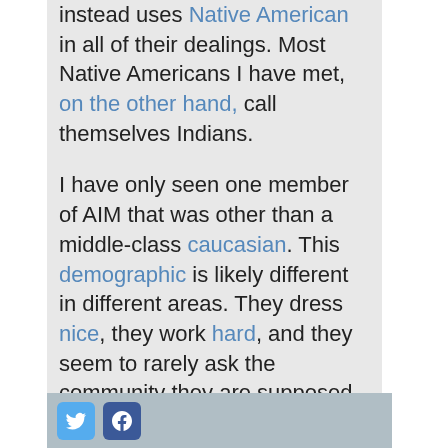instead uses Native American in all of their dealings. Most Native Americans I have met, on the other hand, call themselves Indians.

I have only seen one member of AIM that was other than a middle-class caucasian. This demographic is likely different in different areas. They dress nice, they work hard, and they seem to rarely ask the community they are supposed to be helping what needs to be worked on and often have their own agenda. A common renaming of the group dubs them "Assholes in Moccasins".
[Twitter icon] [Facebook icon]